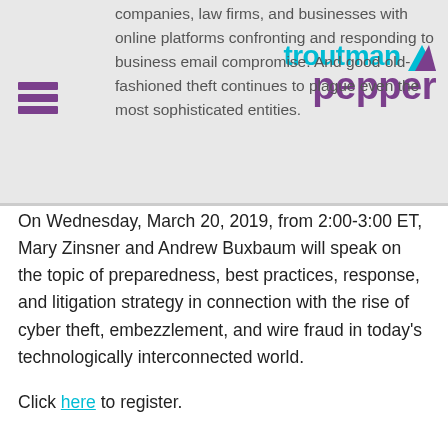[Figure (logo): Troutman Pepper law firm logo with teal 'troutman' text and purple 'pepper' text, with a stylized arrow icon]
companies, law firms, and businesses with online platforms confronting and responding to business email compromise. And good old-fashioned theft continues to plague even the most sophisticated entities.
On Wednesday, March 20, 2019, from 2:00-3:00 ET, Mary Zinsner and Andrew Buxbaum will speak on the topic of preparedness, best practices, response, and litigation strategy in connection with the rise of cyber theft, embezzlement, and wire fraud in today's technologically interconnected world.
Click here to register.